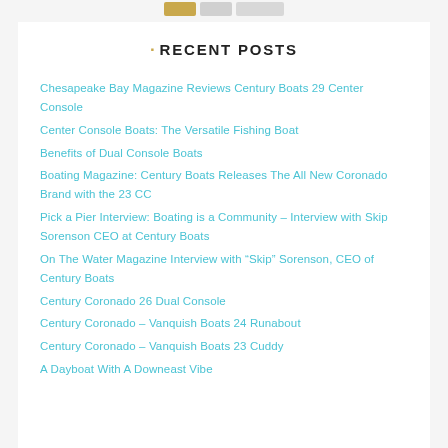[navigation buttons]
RECENT POSTS
Chesapeake Bay Magazine Reviews Century Boats 29 Center Console
Center Console Boats: The Versatile Fishing Boat
Benefits of Dual Console Boats
Boating Magazine: Century Boats Releases The All New Coronado Brand with the 23 CC
Pick a Pier Interview: Boating is a Community – Interview with Skip Sorenson CEO at Century Boats
On The Water Magazine Interview with “Skip” Sorenson, CEO of Century Boats
Century Coronado 26 Dual Console
Century Coronado – Vanquish Boats 24 Runabout
Century Coronado – Vanquish Boats 23 Cuddy
A Dayboat With A Downeast Vibe